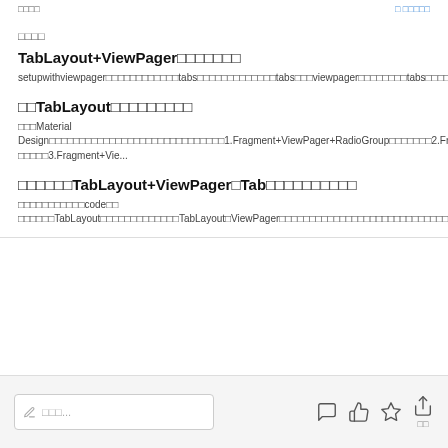□□□□
TabLayout+ViewPager□□□□□□□
setupwithviewpager□□□□□□□□□□□□tabs□□□□□□□□□□□□□tabs□□□viewpager□□□□□□□□tabs□□□□□□□□□□□□□□□viewpager□□□□□□tablayout□□□□□viewpager□□...
□□TabLayout□□□□□□□□□
□□□Material Design□□□□□□□□□□□□□□□□□□□□□□□□□□□□□1.Fragment+ViewPager+RadioGroup□□□□□□□2.Fragment+ViewPager □□□□□3.Fragment+Vie...
□□□□□□TabLayout+ViewPager□Tab□□□□□□□□□□
□□□□□□□□□□□code□□ □□□□□□TabLayout□□□□□□□□□□□□□TabLayout□ViewPager□□□□□□□□□□□□□□□□□□□□□□□□□□□□□□□□□□□...